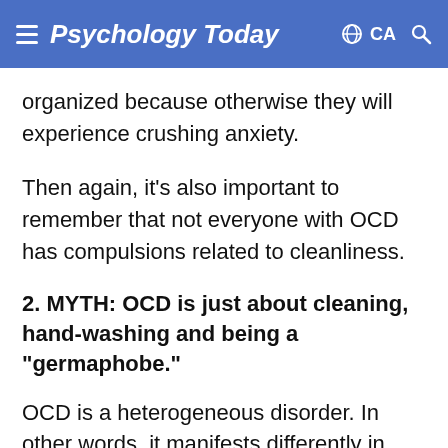Psychology Today  CA
organized because otherwise they will experience crushing anxiety.
Then again, it's also important to remember that not everyone with OCD has compulsions related to cleanliness.
2. MYTH: OCD is just about cleaning, hand-washing and being a “germaphobe.”
OCD is a heterogeneous disorder. In other words, it manifests differently in different people. In fact, only a portion of individuals with OCD are afraid of germs or have compulsions related to keeping themselves (and their world) clean.